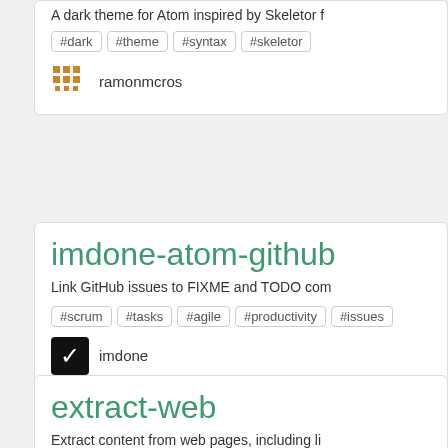A dark theme for Atom inspired by Skeletor f
#dark #theme #syntax #skeletor
ramonmcros
imdone-atom-github
Link GitHub issues to FIXME and TODO com
#scrum #tasks #agile #productivity #issues
imdone
extract-web
Extract content from web pages, including li
#extract #scraping #web
KunihikoKido